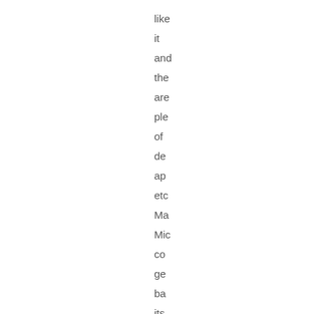like
it
and
the
are
ple
of
de
ap
etc
Ma
Mic
co
ge
ba
its
ma